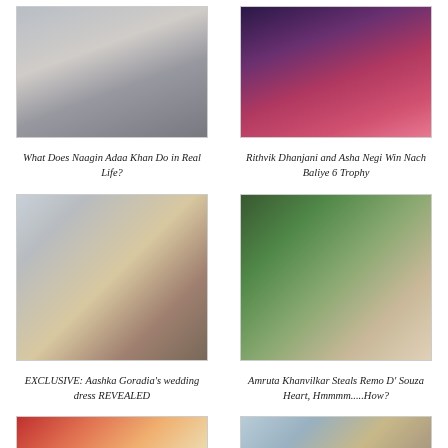[Figure (photo): Photo of Adaa Khan (actress from Naagin)]
[Figure (photo): Photo of Rithvik Dhanjani and Asha Negi holding Nach Baliye 6 trophy]
What Does Naagin Adaa Khan Do in Real Life?
Rithvik Dhanjani and Asha Negi Win Nach Baliye 6 Trophy
[Figure (photo): Collage: Aashka Goradia and a wedding dress lehenga]
[Figure (photo): Photo of Amruta Khanvilkar smiling, wearing a saree]
EXCLUSIVE: Aashka Goradia's wedding dress REVEALED
Amruta Khanvilkar Steals Remo D' Souza Heart, Hmmmm.....How?
[Figure (photo): Group photo with Showbiz watermark]
[Figure (photo): Candid photo of couple indoors]